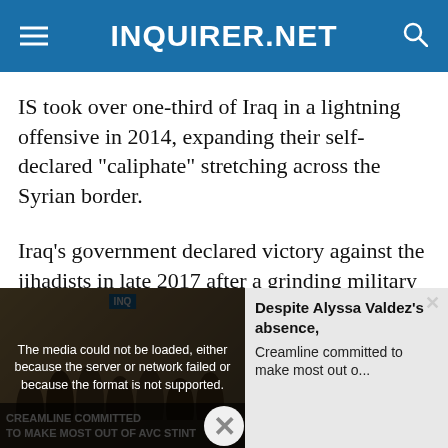INQUIRER.NET
IS took over one-third of Iraq in a lightning offensive in 2014, expanding their self-declared “caliphate” stretching across the Syrian border.
Iraq’s government declared victory against the jihadists in late 2017 after a grinding military campaign backed by a US-led military coalition.
Baghdadi was killed in a raid by US special forces
[Figure (screenshot): Video player overlay showing a media error message: 'The media could not be loaded, either because the server or network failed or because the format is not supported.' Alongside is a thumbnail of volleyball players with text 'CREAMLINE COMMITTED TO MAKE MOST OUT OF AVC STINT' and a sidebar showing 'Despite Alyssa Valdez’s absence, Creamline committed to make most out o...']